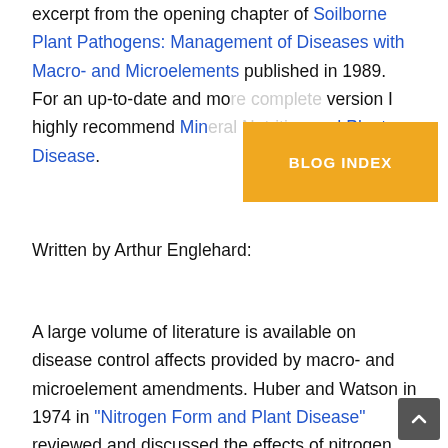excerpt from the opening chapter of Soilborne Plant Pathogens: Management of Diseases with Macro- and Microelements published in 1989. For an up-to-date and more complete version I highly recommend Mineral Nutrition and Plant Disease.
[Figure (other): Orange button labeled BLOG INDEX]
Written by Arthur Englehard:
A large volume of literature is available on disease control affects provided by macro- and microelement amendments. Huber and Watson in 1974 in "Nitrogen Form and Plant Disease" reviewed and discussed the effects of nitrogen and/or nitrogen form on seedling